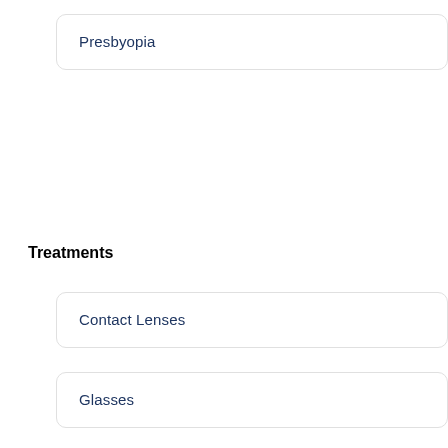Presbyopia
Treatments
Contact Lenses
Glasses